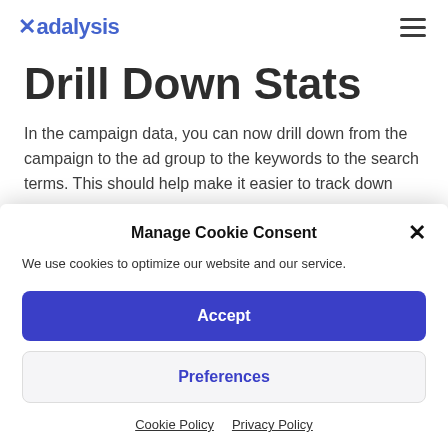Adalysis
Drill Down Stats
In the campaign data, you can now drill down from the campaign to the ad group to the keywords to the search terms. This should help make it easier to track down
Manage Cookie Consent
We use cookies to optimize our website and our service.
Accept
Preferences
Cookie Policy  Privacy Policy